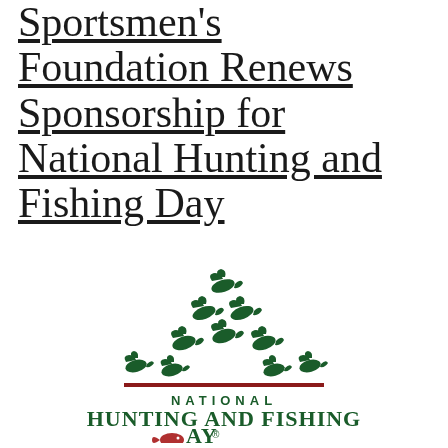Sportsmen's Foundation Renews Sponsorship for National Hunting and Fishing Day
[Figure (logo): National Hunting and Fishing Day logo featuring a flock of flying ducks in dark green arranged in a triangular formation above a dark red horizontal line, with 'NATIONAL' in small caps and 'HUNTING AND FISHING' in large serif letters, and 'DAY®' with a red fish icon replacing the 'D'.]